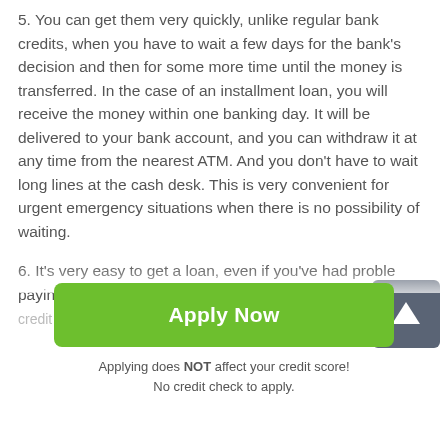5. You can get them very quickly, unlike regular bank credits, when you have to wait a few days for the bank's decision and then for some more time until the money is transferred. In the case of an installment loan, you will receive the money within one banking day. It will be delivered to your bank account, and you can withdraw it at any time from the nearest ATM. And you don't have to wait long lines at the cash desk. This is very convenient for urgent emergency situations when there is no possibility of waiting.
6. It's very easy to get a loan, even if you've had problems paying off your credits before. Lenders usually don't do a credit check. They're more interested in your ability to pay...
[Figure (other): Scroll-to-top arrow button (dark grey rounded square with upward white arrow)]
Apply Now
Applying does NOT affect your credit score!
No credit check to apply.